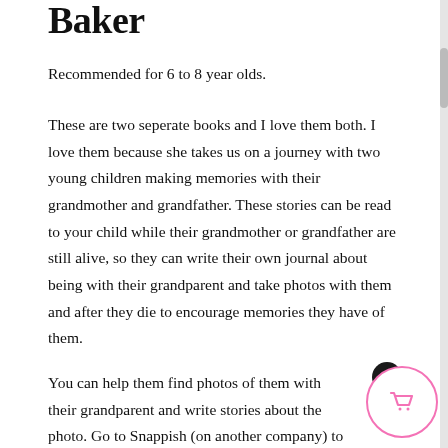Baker
Recommended for 6 to 8 year olds.
These are two seperate books and I love them both. I love them because she takes us on a journey with two young children making memories with their grandmother and grandfather. These stories can be read to your child while their grandmother or grandfather are still alive, so they can write their own journal about being with their grandparent and take photos with them and after they die to encourage memories they have of them.
You can help them find photos of them with their grandparent and write stories about the photo. Go to Snappish (on another company) to put these